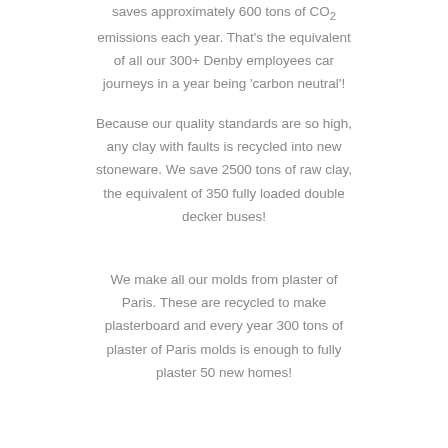saves approximately 600 tons of CO2 emissions each year. That's the equivalent of all our 300+ Denby employees car journeys in a year being 'carbon neutral'!
Because our quality standards are so high, any clay with faults is recycled into new stoneware. We save 2500 tons of raw clay, the equivalent of 350 fully loaded double decker buses!
We make all our molds from plaster of Paris. These are recycled to make plasterboard and every year 300 tons of plaster of Paris molds is enough to fully plaster 50 new homes!